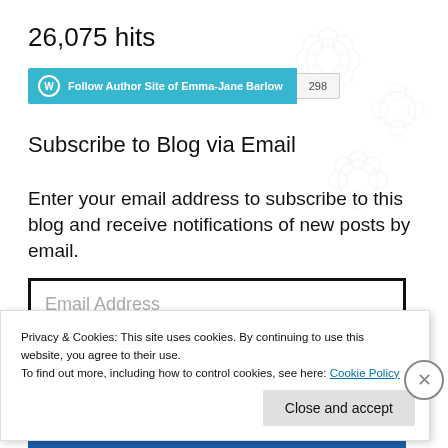26,075 hits
[Figure (other): WordPress Follow Author Site of Emma-Jane Barlow button with follower count 298]
Subscribe to Blog via Email
Enter your email address to subscribe to this blog and receive notifications of new posts by email.
[Figure (other): Email Address input field with black border]
Privacy & Cookies: This site uses cookies. By continuing to use this website, you agree to their use.
To find out more, including how to control cookies, see here: Cookie Policy
Close and accept